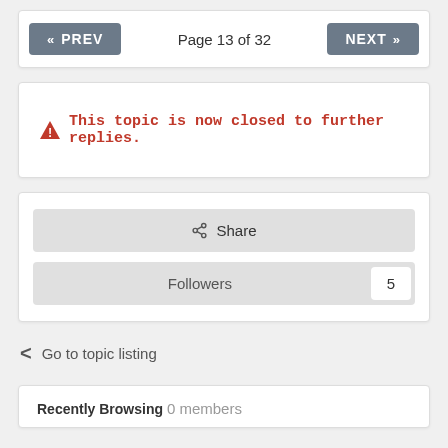« PREV   Page 13 of 32   NEXT »
⚠ This topic is now closed to further replies.
Share
Followers   5
< Go to topic listing
Recently Browsing  0 members